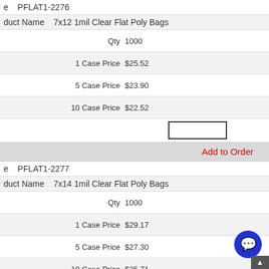e   PFLAT1-2276
duct Name   7x12 1mil Clear Flat Poly Bags
| Qty | 1000 |
| 1 Case Price | $25.52 |
| 5 Case Price | $23.90 |
| 10 Case Price | $22.52 |
Add to Order
e   PFLAT1-2277
duct Name   7x14 1mil Clear Flat Poly Bags
| Qty | 1000 |
| 1 Case Price | $29.17 |
| 5 Case Price | $27.30 |
| 10 Case Price | $25.71 |
Add to Order